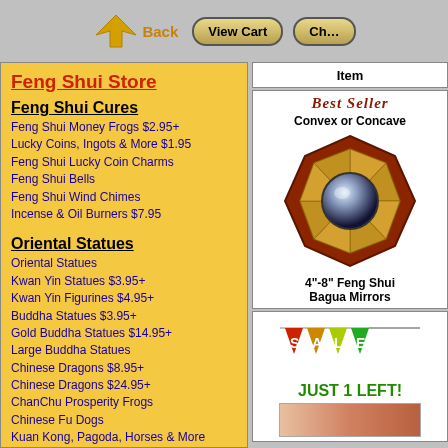Back | View Cart | Checkout
Feng Shui Store
Feng Shui Cures
Feng Shui Money Frogs $2.95+
Lucky Coins, Ingots & More $1.95
Feng Shui Lucky Coin Charms
Feng Shui Bells
Feng Shui Wind Chimes
Incense & Oil Burners $7.95
Oriental Statues
Oriental Statues
Kwan Yin Statues $3.95+
Kwan Yin Figurines $4.95+
Buddha Statues $3.95+
Gold Buddha Statues $14.95+
Large Buddha Statues
Chinese Dragons $8.95+
Chinese Dragons $24.95+
ChanChu Prosperity Frogs
Chinese Fu Dogs
Kuan Kong, Pagoda, Horses & More
Longevity Turtles & Elephants
Feng Shui Decor
Chinese Lanterns $3.95
| Item |
| --- |
[Figure (photo): Feng Shui Bagua Mirror with octagonal wooden frame and convex mirror center, labeled Best Seller]
Convex or Concave
4"-8" Feng Shui Bagua Mirrors
[Figure (illustration): SALE banner with colorful pennant flags and JUST 1 LEFT text in green]